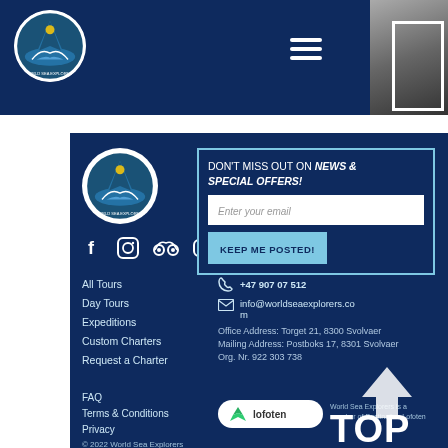[Figure (logo): World Sea Explorers circular logo in header navigation bar on dark blue background]
[Figure (photo): Partial photo of sea/cliffs on right side of header]
[Figure (logo): World Sea Explorers circular logo in footer]
DON'T MISS OUT ON NEWS & SPECIAL OFFERS!
Enter your email
KEEP ME POSTED!
All Tours
Day Tours
Expeditions
Custom Charters
Request a Charter
+47 907 07 512
info@worldseaexplorers.com
Office Address: Torget 21, 8300 Svolvaer
Mailing Address: Postboks 17, 8301 Svolvaer
Org. Nr. 922 303 738
FAQ
Terms & Conditions
Privacy
[Figure (logo): Lofoten destination badge with green leaf logo]
World Sea Explorers is a member of Destination Lofoten
© 2022 World Sea Explorers